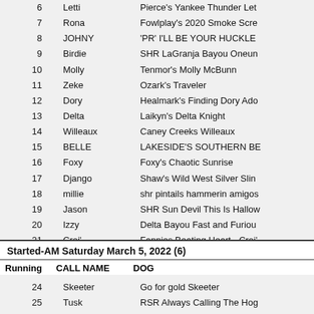6  Letti  Pierce's Yankee Thunder Let
7  Rona  Fowlplay's 2020 Smoke Scre
8  JOHNY  'PR' I'LL BE YOUR HUCKLE
9  Birdie  SHR LaGranja Bayou Oneun
10  Molly  Tenmor's Molly McBunn
11  Zeke  Ozark's Traveler
12  Dory  Healmark's Finding Dory Ado
13  Delta  Laikyn's Delta Knight
14  Willeaux  Caney Creeks Willeaux
15  BELLE  LAKESIDE'S SOUTHERN BE
16  Foxy  Foxy's Chaotic Sunrise
17  Django  Shaw's Wild West Silver Slin
18  millie  shr pintails hammerin amigos
19  Jason  SHR Sun Devil This Is Hallow
20  Izzy  Delta Bayou Fast and Furiou
21  Croi'  Fannies Beating Heart - Croi'
22  Kru  Legendary CaCoa Kru
23  Timber  Folsom's Cuttin Them Down
24  Skeeter  Go for gold Skeeter
25  Tusk  RSR Always Calling The Hog
26  ANNIE  WADE'S ANNIE
Started-AM Saturday March 5, 2022 (6)
| Running | CALL NAME | DOG |
| --- | --- | --- |